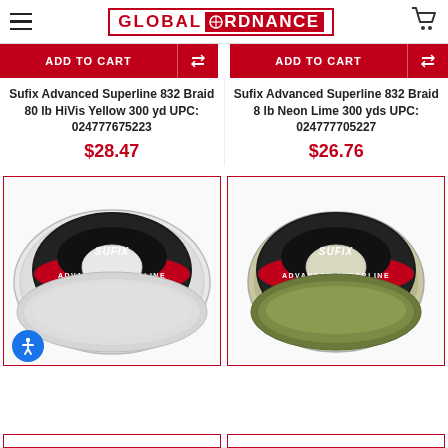Global Ordnance
ADD TO CART | ADD TO CART
Sufix Advanced Superline 832 Braid 80 lb HiVis Yellow 300 yd UPC: 024777675223
$28.47
Sufix Advanced Superline 832 Braid 8 lb Neon Lime 300 yds UPC: 024777705227
$26.76
[Figure (photo): Spool of white Sufix Advanced Superline 832 braided fishing line]
[Figure (photo): Spool of green Sufix Advanced Superline 832 braided fishing line]